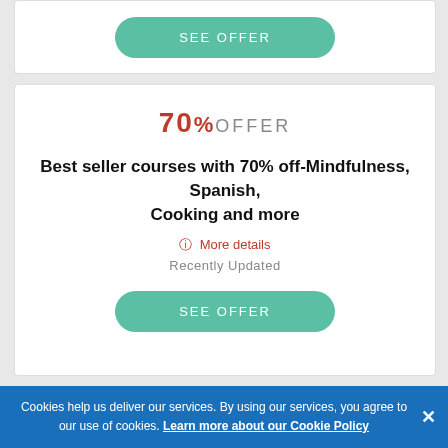[Figure (other): Partial card with SEE OFFER button at top]
70%OFFER
Best seller courses with 70% off-Mindfulness, Spanish, Cooking and more
ⓘ More details
Recently Updated
SEE OFFER
70%OFFER
Get 70% off New Releases
ⓘ More details
Cookies help us deliver our services. By using our services, you agree to our use of cookies. Learn more about our Cookie Policy